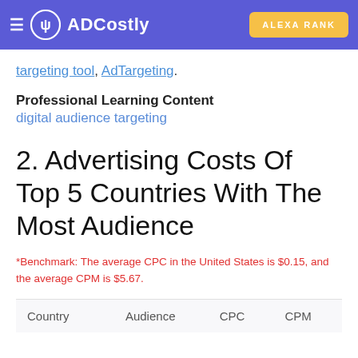ADCostly | ALEXA RANK
targeting tool, AdTargeting.
Professional Learning Content
digital audience targeting
2. Advertising Costs Of Top 5 Countries With The Most Audience
*Benchmark: The average CPC in the United States is $0.15, and the average CPM is $5.67.
| Country | Audience | CPC | CPM |
| --- | --- | --- | --- |